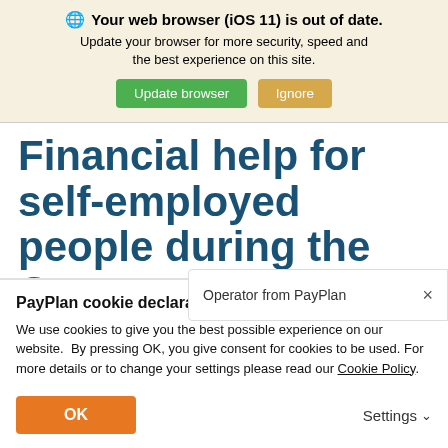[Figure (screenshot): Browser update notification banner with globe icon, bold title 'Your web browser (iOS 11) is out of date.', subtitle text, and two buttons: 'Update browser' (green) and 'Ignore' (tan/yellow)]
Financial help for self-employed people during the Corona
[Figure (screenshot): Chat popup overlay showing 'Operator from PayPlan' with an X close button]
PayPlan cookie declaration
We use cookies to give you the best possible experience on our website.  By pressing OK, you give consent for cookies to be used. For more details or to change your settings please read our Cookie Policy.
[Figure (screenshot): Cookie consent footer with orange OK button on the left and 'Settings' with dropdown arrow on the right]